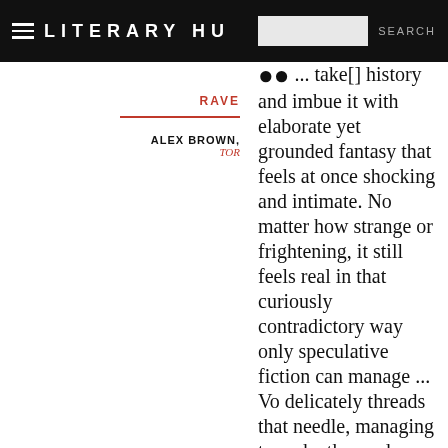LITERARY HU
RAVE
ALEX BROWN, TOR
... take[] history and imbue it with elaborate yet grounded fantasy that feels at once shocking and intimate. No matter how strange or frightening, it still feels real in that curiously contradictory way only speculative fiction can manage ... Vo delicately threads that needle, managing to make the reader sympathize with Luli without sugarcoating or simplifying her ... Nghi Vo is the kind of writer who starts off remarkable yet somehow gets better and better with each book. Her short speculative fiction made her mark on fiction, her novellas demonstrated her sheer talent, and her novels have taken alternate history to new heights. Siren Queen is the beginning of a new...